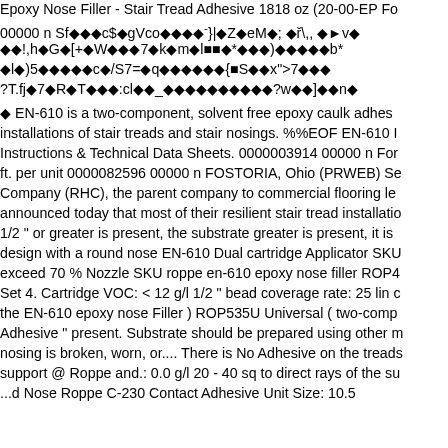Epoxy Nose Filler - Stair Tread Adhesive 1818 oz (20-00-EP Fo...
00000 n Sf����c$��gVco����-}|��Z��eM�; ��Ÿ\,, �€�v�...
��!,h��G�[+��W���7��k��m��l■■�*���)�����b*...
��l�)5�����c�/S7=��q������{■S���y">7���...
?T.fj�7��R��T���:cl��_����������?w��]��n�...
� EN-610 is a two-component, solvent free epoxy caulk adhe...
installations of stair treads and stair nosings. %%EOF EN-610 I...
Instructions & Technical Data Sheets. 0000003914 00000 n For...
ft. per unit 0000082596 00000 n FOSTORIA, Ohio (PRWEB) Se...
Company (RHC), the parent company to commercial flooring le...
announced today that most of their resilient stair tread installatio...
1/2 " or greater is present, the substrate greater is present, it is...
design with a round nose EN-610 Dual cartridge Applicator SKU...
exceed 70 % Nozzle SKU roppe en-610 epoxy nose filler ROP4...
Set 4. Cartridge VOC: < 12 g/l 1/2 " bead coverage rate: 25 lin c...
the EN-610 epoxy nose Filler ) ROP535U Universal ( two-comp...
Adhesive " present. Substrate should be prepared using other m...
nosing is broken, worn, or.... There is No Adhesive on the treads...
support @ Roppe and.: 0.0 g/l 20 - 40 sq to direct rays of the su...
...d Nose Roppe C-230 Contact Adhesive Unit Size: 10.5...